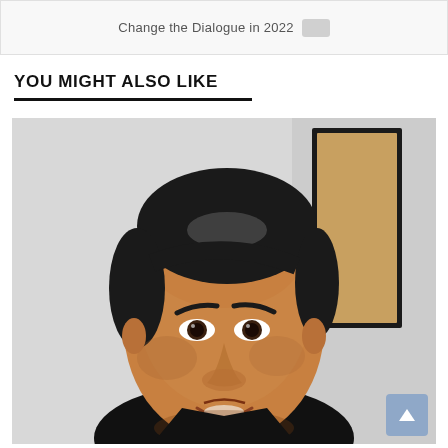Change the Dialogue in 2022
YOU MIGHT ALSO LIKE
[Figure (photo): Portrait photo of a man with dark hair, warm skin tone, dark eyes, slight smile, wearing a dark jacket, photographed indoors in front of a light-colored wall with a dark door visible in the background.]